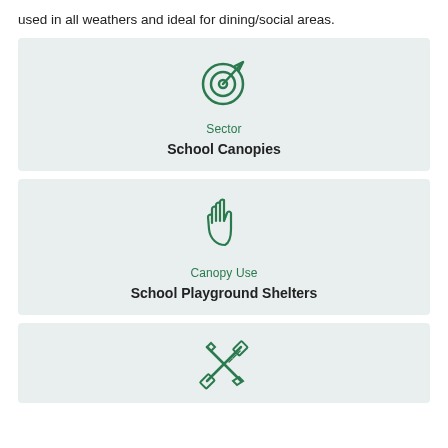used in all weathers and ideal for dining/social areas.
[Figure (infographic): Target/goal icon in dark green, circular with arrow. Label: Sector. Title: School Canopies.]
[Figure (infographic): Hand/wave icon in dark green. Label: Canopy Use. Title: School Playground Shelters.]
[Figure (infographic): Crossed pencil and ruler icon in dark green. Partially visible card.]